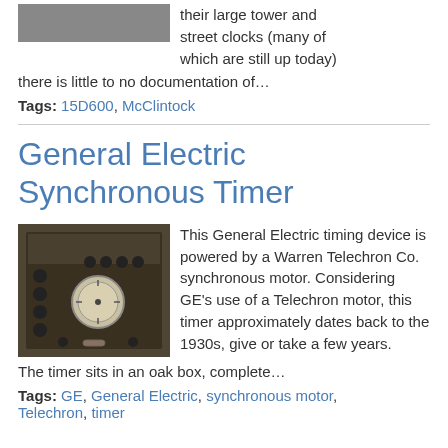[Figure (photo): Partial top of a device image, mostly cut off at top of page]
their large tower and street clocks (many of which are still up today) there is little to no documentation of…
Tags: 15D600, McClintock
General Electric Synchronous Timer
[Figure (photo): Photograph of a General Electric synchronous timer in an oak box, showing a dark metal device with multiple knobs and a circular dial face]
This General Electric timing device is powered by a Warren Telechron Co. synchronous motor. Considering GE's use of a Telechron motor, this timer approximately dates back to the 1930s, give or take a few years. The timer sits in an oak box, complete…
Tags: GE, General Electric, synchronous motor, Telechron, timer